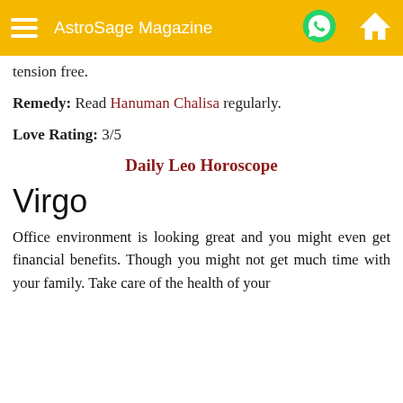AstroSage Magazine
tension free.
Remedy: Read Hanuman Chalisa regularly.
Love Rating: 3/5
Daily Leo Horoscope
Virgo
Office environment is looking great and you might even get financial benefits. Though you might not get much time with your family. Take care of the health of your